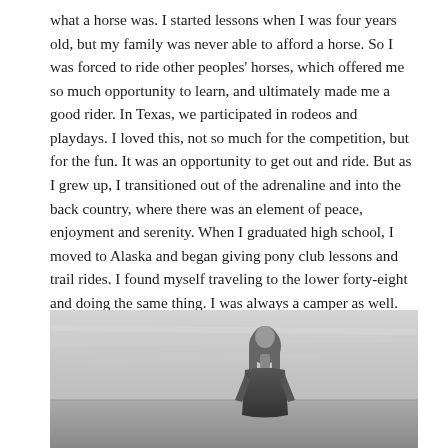what a horse was. I started lessons when I was four years old, but my family was never able to afford a horse. So I was forced to ride other peoples' horses, which offered me so much opportunity to learn, and ultimately made me a good rider. In Texas, we participated in rodeos and playdays. I loved this, not so much for the competition, but for the fun. It was an opportunity to get out and ride. But as I grew up, I transitioned out of the adrenaline and into the back country, where there was an element of peace, enjoyment and serenity. When I graduated high school, I moved to Alaska and began giving pony club lessons and trail rides. I found myself traveling to the lower forty-eight and doing the same thing. I was always a camper as well. Combining the two, horses and nature, was complete harmony. It was where I really wanted to spend my time.
[Figure (photo): Black and white photograph of a woman with long hair standing outdoors against a cloudy sky background]